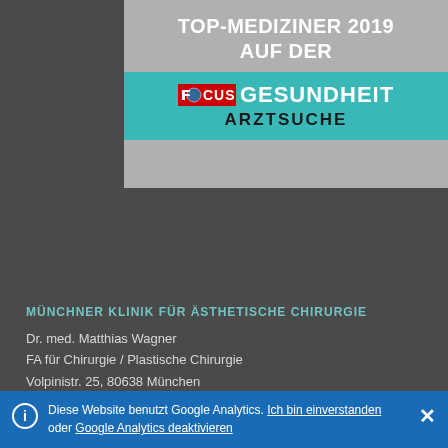[Figure (illustration): Focus Gesundheit Arztsuche award badge for Top-Mediziner 2019. Gray background with white bold text 'TOP-MEDIZINER 2019 AUF DER' above a teal ribbon banner containing the FOCUS Gesundheit logo and 'ARZTSUCHE' text in black.]
MÜNCHNER KLINIK FÜR ÄSTHETISCHE CHIRURGIE
Dr. med. Matthias Wagner
FA für Chirurgie / Plastische Chirurgie
Volpinistr. 25, 80638 München
Tel.: 089 / 17 31 93 43
Fax: 089 / 17 31 93 44
Diese Website benutzt Google Analytics. Ich bin einverstanden oder Google Analytics deaktivieren